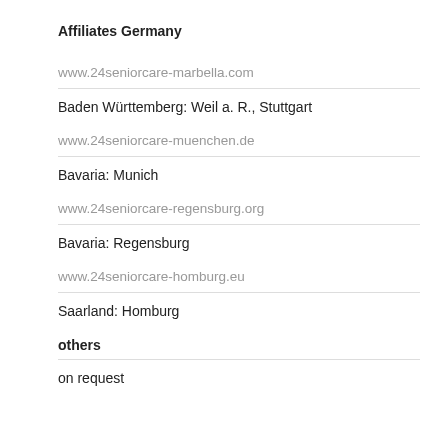Affiliates Germany
www.24seniorcare-marbella.com
Baden Württemberg: Weil a. R., Stuttgart
www.24seniorcare-muenchen.de
Bavaria: Munich
www.24seniorcare-regensburg.org
Bavaria: Regensburg
www.24seniorcare-homburg.eu
Saarland: Homburg
others
on request